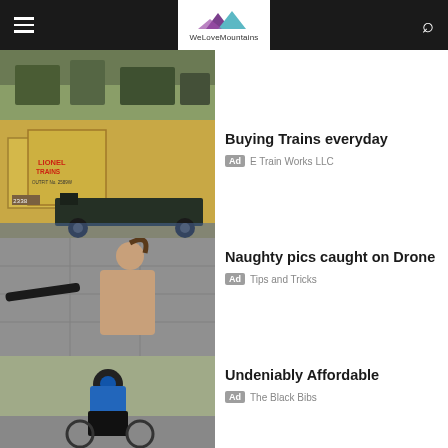WeLoveMountains navigation bar
[Figure (screenshot): Partial thumbnail image of people outdoors (cropped at top)]
[Figure (photo): Lionel Trains model train set with boxes]
Buying Trains everyday
Ad  E Train Works LLC
[Figure (photo): Woman on a rooftop holding a bat]
Naughty pics caught on Drone
Ad  Tips and Tricks
[Figure (photo): Cyclist in blue jersey riding away from camera]
Undeniably Affordable
Ad  The Black Bibs